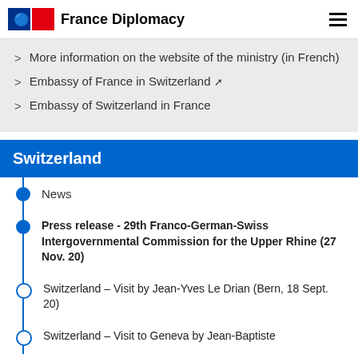France Diplomacy
More information on the website of the ministry (in French)
Embassy of France in Switzerland
Embassy of Switzerland in France
Switzerland
News
Press release - 29th Franco-German-Swiss Intergovernmental Commission for the Upper Rhine (27 Nov. 20)
Switzerland – Visit by Jean-Yves Le Drian (Bern, 18 Sept. 20)
Switzerland – Visit to Geneva by Jean-Baptiste